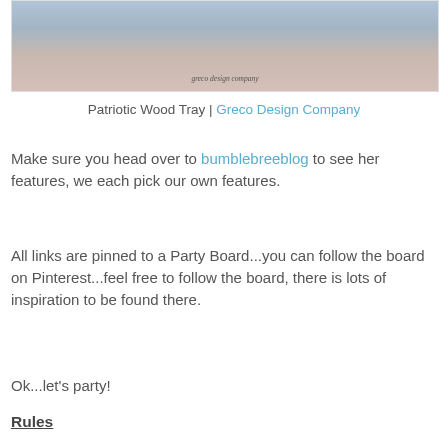[Figure (photo): Photo of patriotic wood tray with decorative elements, watermark reads 'greco design company']
Patriotic Wood Tray | Greco Design Company
Make sure you head over to bumblebreeblog to see her features, we each pick our own features.
All links are pinned to a Party Board...you can follow the board on Pinterest...feel free to follow the board, there is lots of inspiration to be found there.
Ok...let's party!
Rules